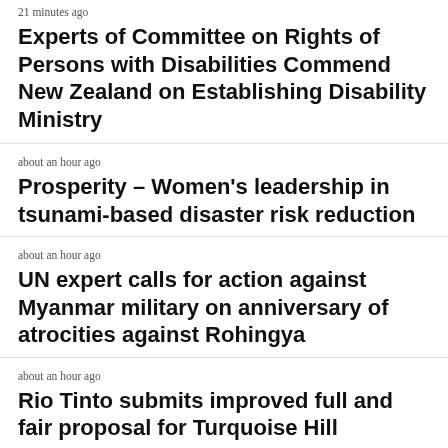21 minutes ago
Experts of Committee on Rights of Persons with Disabilities Commend New Zealand on Establishing Disability Ministry
about an hour ago
Prosperity – Women's leadership in tsunami-based disaster risk reduction
about an hour ago
UN expert calls for action against Myanmar military on anniversary of atrocities against Rohingya
about an hour ago
Rio Tinto submits improved full and fair proposal for Turquoise Hill
about an hour ago
Entre d'etre transition period: CRSTS /17…